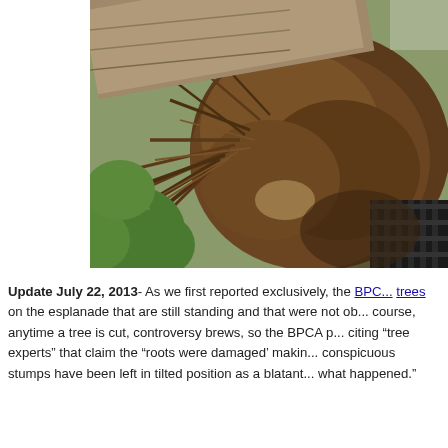[Figure (photo): A fallen tree with exposed root ball and soil clinging to the roots, lying against a metal fence or railing. Green foliage is visible to the left. The photo shows the uprooted base of a large tree.]
Update July 22, 2013- As we first reported exclusively, the BPC... trees on the esplanade that are still standing and that were not ob... course, anytime a tree is cut, controversy brews, so the BPCA p... citing "tree experts" that claim the "roots were damaged' makin... conspicuous stumps have been left in tilted position as a blatant... what happened."